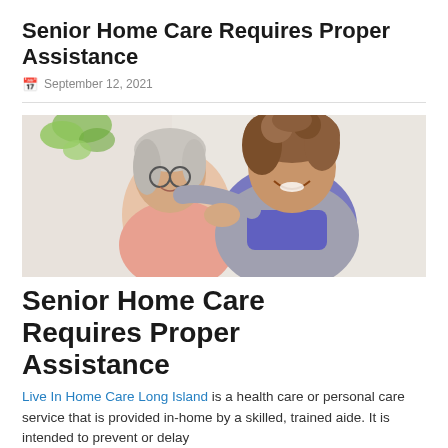Senior Home Care Requires Proper Assistance
September 12, 2021
[Figure (photo): A smiling elderly woman with glasses and a younger woman with curly hair embracing, both smiling warmly against a light background.]
Senior Home Care Requires Proper Assistance
Live In Home Care Long Island is a health care or personal care service that is provided in-home by a skilled, trained aide. It is intended to prevent or delay